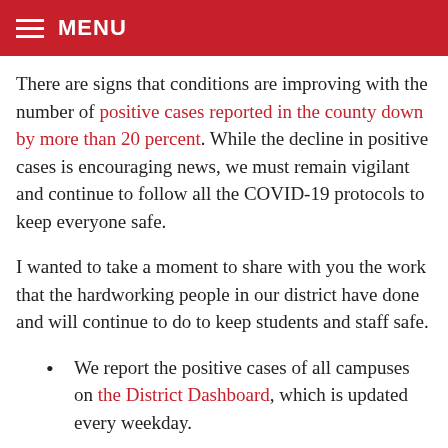MENU
There are signs that conditions are improving with the number of positive cases reported in the county down by more than 20 percent. While the decline in positive cases is encouraging news, we must remain vigilant and continue to follow all the COVID-19 protocols to keep everyone safe.
I wanted to take a moment to share with you the work that the hardworking people in our district have done and will continue to do to keep students and staff safe.
We report the positive cases of all campuses on the District Dashboard, which is updated every weekday.
We employ 11 nurses who work with us full time on our contact tracing program with Contra Costa County Health Services.
We distributed 15,000 testing kits to families the Sunday before the first day back from winter break